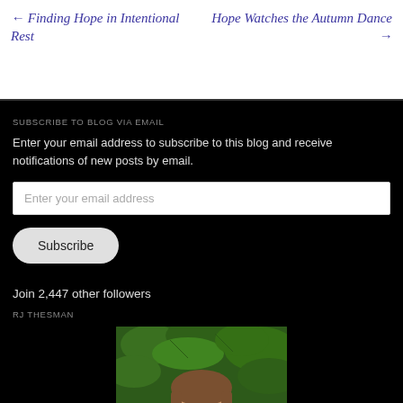← Finding Hope in Intentional Rest
Hope Watches the Autumn Dance →
SUBSCRIBE TO BLOG VIA EMAIL
Enter your email address to subscribe to this blog and receive notifications of new posts by email.
Enter your email address
Subscribe
Join 2,447 other followers
RJ THESMAN
[Figure (photo): Author photo of RJ Thesman, a woman with brown hair and glasses, in front of green foliage]